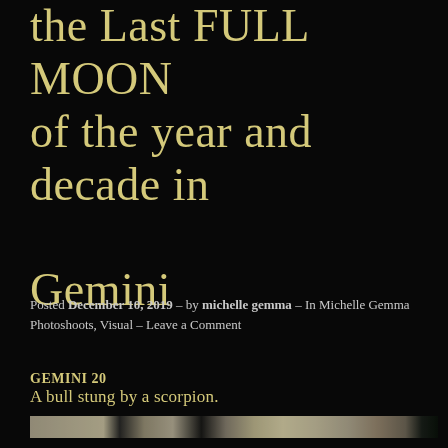the Last FULL MOON of the year and decade in Gemini
Posted December 10, 2019 – by michelle gemma – In Michelle Gemma Photoshoots, Visual – Leave a Comment
GEMINI 20
A bull stung by a scorpion.
[Figure (photo): A horizontal strip showing a blurred photographic image with light and dark tones, appearing to be a narrow cropped section of a larger photograph.]